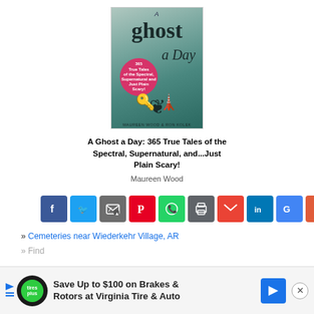[Figure (illustration): Book cover of 'A Ghost a Day: 365 True Tales of the Spectral, Supernatural, and...Just Plain Scary!' by Maureen Wood. Dark teal/green atmospheric background with ornate iron gate silhouette at bottom, large stylized text title, and a pink circular badge reading '365 True Tales of the Spectral, Supernatural, and Just Plain Scary!']
A Ghost a Day: 365 True Tales of the Spectral, Supernatural, and...Just Plain Scary!
Maureen Wood
[Figure (infographic): Social sharing buttons row: Facebook (blue), Twitter (light blue), Email/share (dark grey), Pinterest (red), WhatsApp (green), Print (grey), Gmail (red), LinkedIn (blue), Google+ (blue), More (orange-red)]
» Cemeteries near Wiederkehr Village, AR
» Find
[Figure (advertisement): Ad banner: Save Up to $100 on Brakes & Rotors at Virginia Tire & Auto, with Tires Plus logo and blue directional sign icon]